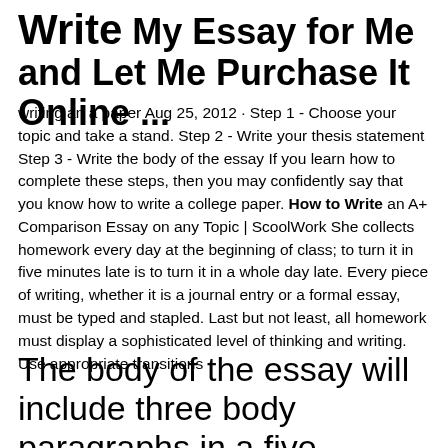Write My Essay for Me and Let Me Purchase It Online ...
writing an a paper Aug 25, 2012 · Step 1 - Choose your topic and take a stand. Step 2 - Write your thesis statement Step 3 - Write the body of the essay If you learn how to complete these steps, then you may confidently say that you know how to write a college paper. How to Write an A+ Comparison Essay on any Topic | ScoolWork She collects homework every day at the beginning of class; to turn it in five minutes late is to turn it in a whole day late. Every piece of writing, whether it is a journal entry or a formal essay, must be typed and stapled. Last but not least, all homework must display a sophisticated level of thinking and writing. Use appropriate transitions
The body of the essay will include three body paragraphs in a five paragraph essay